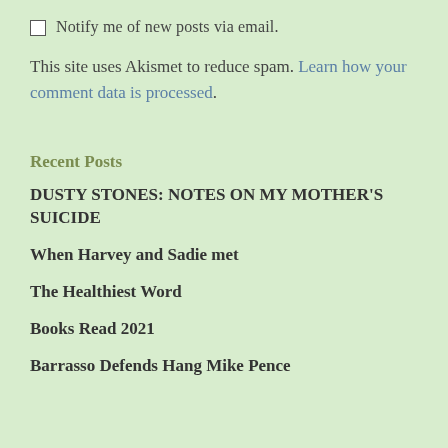Notify me of new posts via email.
This site uses Akismet to reduce spam. Learn how your comment data is processed.
Recent Posts
DUSTY STONES: NOTES ON MY MOTHER'S SUICIDE
When Harvey and Sadie met
The Healthiest Word
Books Read 2021
Barrasso Defends Hang Mike Pence